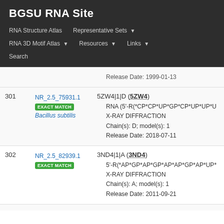BGSU RNA Site
RNA Structure Atlas
Representative Sets
RNA 3D Motif Atlas
Resources
Links
Search
| # | ID | Structure |
| --- | --- | --- |
|  |  | Release Date: 1999-01-13 |
| 301 | NR_2.5_75931.1 EXACT MATCH Bacillus subtilis | 5ZW4|1|D (5ZW4)
• RNA (5'-R(*CP*CP*UP*GP*CP*UP*UP*U
• X-RAY DIFFRACTION
• Chain(s): D; model(s): 1
• Release Date: 2018-07-11 |
| 302 | NR_2.5_82939.1 EXACT MATCH | 3ND4|1|A (3ND4)
• 5'-R(*AP*GP*AP*GP*AP*AP*GP*AP*UP*
• X-RAY DIFFRACTION
• Chain(s): A; model(s): 1
• Release Date: 2011-09-21 |